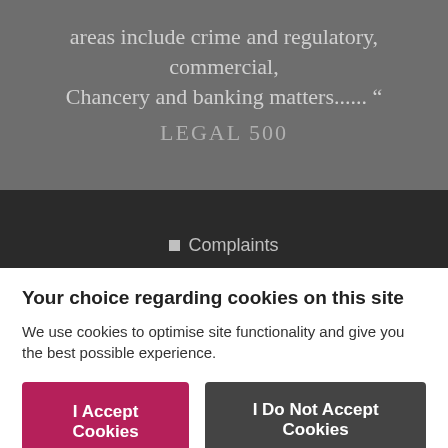areas include crime and regulatory, commercial, Chancery and banking matters...... ”
LEGAL 500
Complaints
Your choice regarding cookies on this site
We use cookies to optimise site functionality and give you the best possible experience.
I Accept Cookies
I Do Not Accept Cookies
Settings